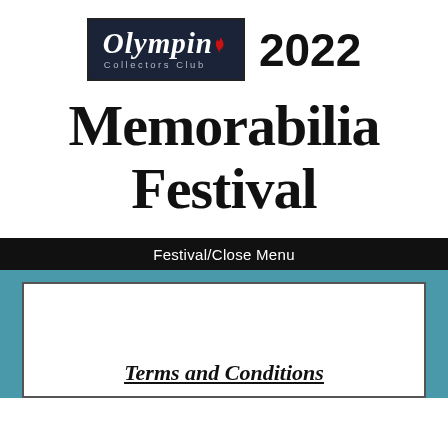[Figure (logo): Olympin Collectors Club logo — dark navy background with italic white text 'Olympin', a red flame accent, and 'Collectors Club' subtitle in grey]
2022 Memorabilia Festival
Festival/Close Menu
Terms and Conditions